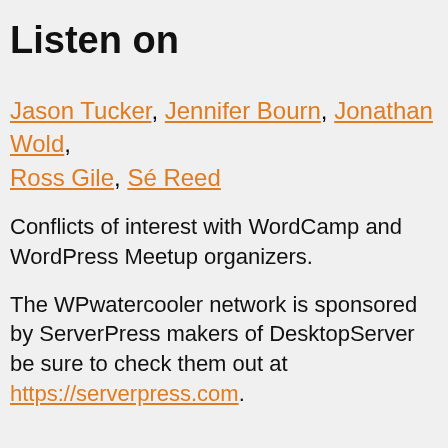Listen on
Jason Tucker, Jennifer Bourn, Jonathan Wold, Ross Gile, Sé Reed
Conflicts of interest with WordCamp and WordPress Meetup organizers.
The WPwatercooler network is sponsored by ServerPress makers of DesktopServer be sure to check them out at https://serverpress.com.